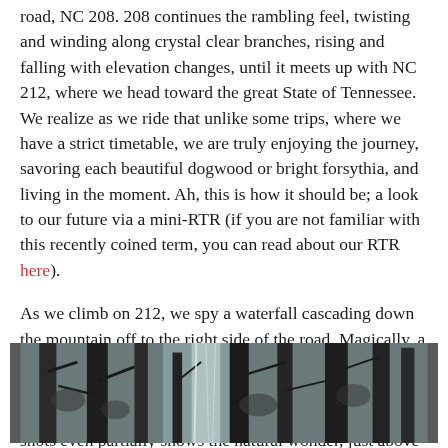road, NC 208. 208 continues the rambling feel, twisting and winding along crystal clear branches, rising and falling with elevation changes, until it meets up with NC 212, where we head toward the great State of Tennessee. We realize as we ride that unlike some trips, where we have a strict timetable, we are truly enjoying the journey, savoring each beautiful dogwood or bright forsythia, and living in the moment. Ah, this is how it should be; a look to our future via a mini-RTR (if you are not familiar with this recently coined term, you can read about our RTR here).
As we climb on 212, we spy a waterfall cascading down the mountain off to the right side of the road. Magically, a gravel pullout appears, and we zip in. Even though the leaves have not really popped out yet at this elevation, the waterfall is elusive in photos, and only one (of many) shots even partially shows the natural wonder, just above the crooked part of the tree.
[Figure (photo): A photograph of a waterfall partially visible through bare winter trees, the scene showing dark tree trunks and branches with a waterfall cascading in the background.]